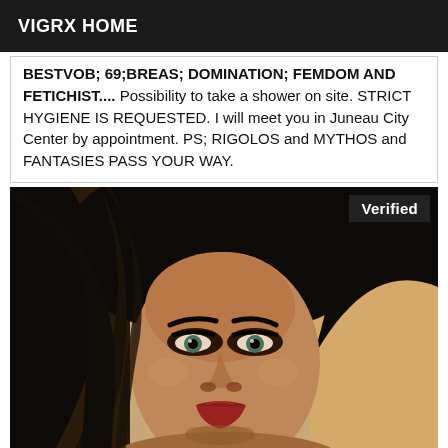VIGRX HOME
BESTVOB; 69;BREAS; DOMINATION; FEMDOM AND FETICHIST.... Possibility to take a shower on site. STRICT HYGIENE IS REQUESTED. I will meet you in Juneau City Center by appointment. PS; RIGOLOS and MYTHOS and FANTASIES PASS YOUR WAY.
[Figure (photo): Close-up portrait photo of a woman with dark hair, dramatic makeup, green eyes, and red lips. A 'Verified' badge is overlaid in the top-right corner.]